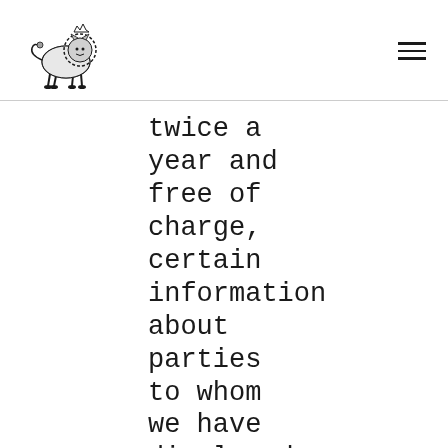[Figure (logo): Marley Coffee logo with lion illustration above text 'MARLEY COFFEE.']
twice a year and free of charge, certain information about parties to whom we have disclosed